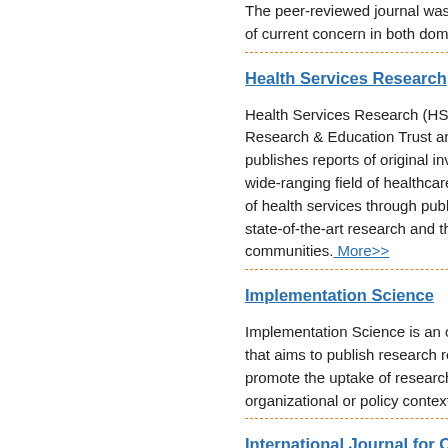The peer-reviewed journal was... of current concern in both dom...
Health Services Research
Health Services Research (HS... Research & Education Trust ar... publishes reports of original inv... wide-ranging field of healthcare... of health services through publ... state-of-the-art research and th... communities. More>>
Implementation Science
Implementation Science is an o... that aims to publish research r... promote the uptake of research... organizational or policy context...
International Journal for Qua...
The International Journal for Q... related to quality and safety in... The Journal publishes papers...